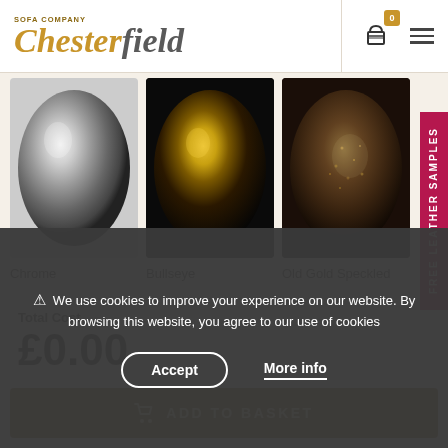Chesterfield Sofa Company — header with cart icon (0) and menu
[Figure (photo): Three circular nail/stud finish samples: Chrome (metallic silver ball), Bullseye (dark ball with gold reflection), Old Gold Speckled (dark textured surface with gold speckles)]
Chrome
Bullseye
Old Gold Speckled
Total Cost
£0.00
ADD TO BASKET
FREE Leather Samples
⚠ We use cookies to improve your experience on our website. By browsing this website, you agree to our use of cookies
Accept
More info